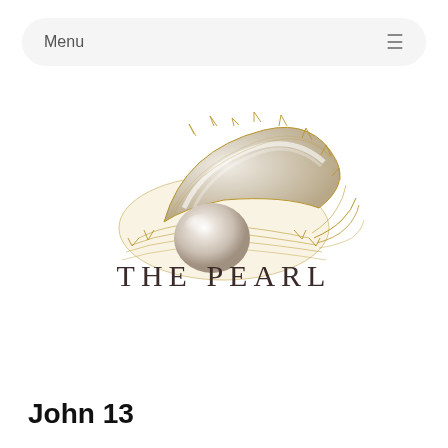Menu ≡
[Figure (logo): The Pearl Ministry logo: an illustrated golden oyster shell open with a lustrous pearl inside, drawn in gold line art style]
THE PEARL MINISTRY
John 13